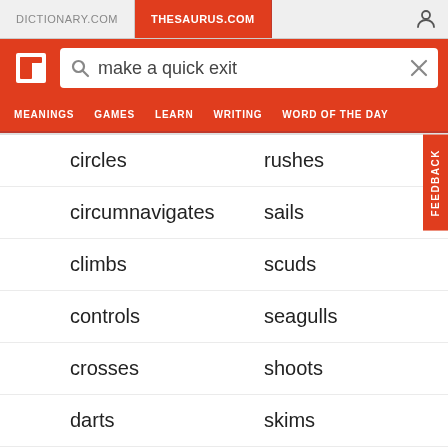DICTIONARY.COM | THESAURUS.COM
make a quick exit
MEANINGS  GAMES  LEARN  WRITING  WORD OF THE DAY
circles
rushes
circumnavigates
sails
climbs
scuds
controls
seagulls
crosses
shoots
darts
skims
ashes
skirts
dives
sky out